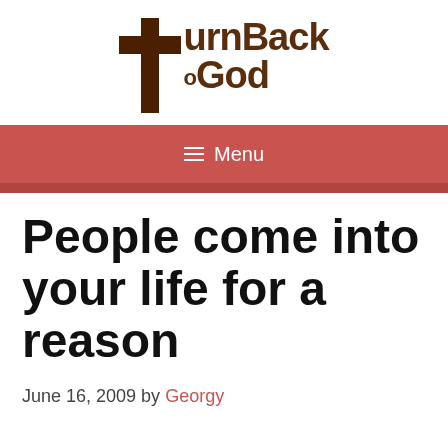[Figure (logo): TurnBackToGod logo with a brown cross icon and stylized text]
≡ Menu
People come into your life for a reason
June 16, 2009 by Georgy